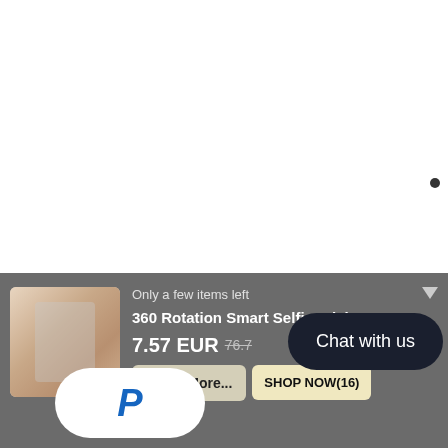[Figure (screenshot): E-commerce product notification banner showing a selfie stick product. Contains: 'Only a few items left' text, product name '360 Rotation Smart Selfie Stick Auto ...', price '7.57 EUR' with strikethrough '76.7', PayPal badge, 'Show More...' button, 'SHOP NOW(16)' button, and 'Chat with us' overlay bubble. Two small dark dots visible in the top-right area of the white background.]